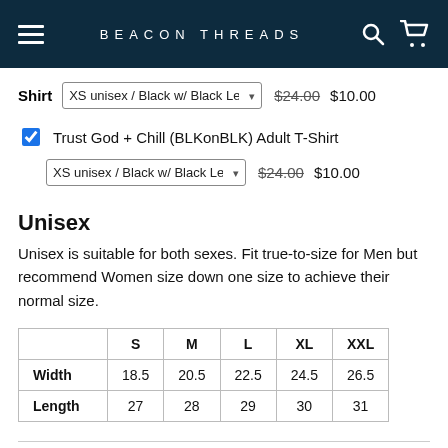BEACON THREADS
Shirt  XS unisex / Black w/ Black Letter  $24.00  $10.00
Trust God + Chill (BLKonBLK) Adult T-Shirt  XS unisex / Black w/ Black Letter  $24.00  $10.00
Unisex
Unisex is suitable for both sexes. Fit true-to-size for Men but recommend Women size down one size to achieve their normal size.
|  | S | M | L | XL | XXL |
| --- | --- | --- | --- | --- | --- |
| Width | 18.5 | 20.5 | 22.5 | 24.5 | 26.5 |
| Length | 27 | 28 | 29 | 30 | 31 |